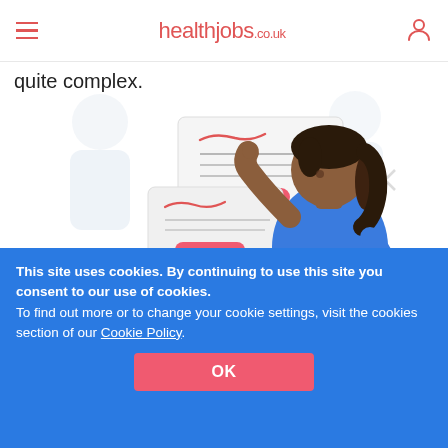healthjobs.co.uk
quite complex.
[Figure (illustration): Illustration of a dark-skinned woman in blue scrubs pointing at floating document/form cards with pink buttons and handwritten-style text. Background shows faded figures and the partial text 'Care Pl... Another'.]
This site uses cookies. By continuing to use this site you consent to our use of cookies.
To find out more or to change your cookie settings, visit the cookies section of our Cookie Policy.
OK